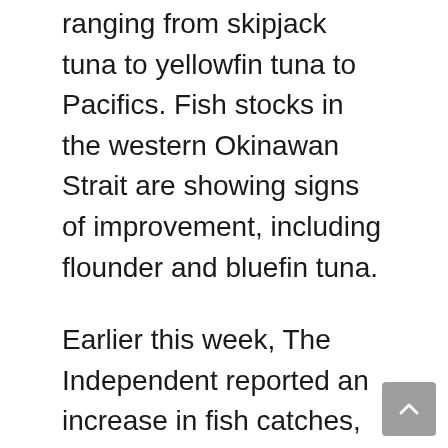ranging from skipjack tuna to yellowfin tuna to Pacifics. Fish stocks in the western Okinawan Strait are showing signs of improvement, including flounder and bluefin tuna.
Earlier this week, The Independent reported an increase in fish catches, as well as the wind rushing from the islands toward Fukushima, offering a boatload of eelwood out at sea.
Also, the report says a group of local fishermen spotted a whale carcass washed